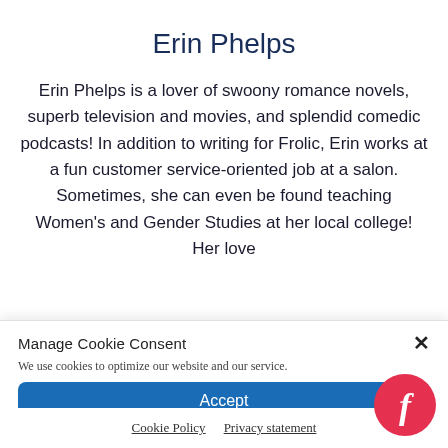Erin Phelps
Erin Phelps is a lover of swoony romance novels, superb television and movies, and splendid comedic podcasts! In addition to writing for Frolic, Erin works at a fun customer service-oriented job at a salon. Sometimes, she can even be found teaching Women's and Gender Studies at her local college! Her love
Manage Cookie Consent
We use cookies to optimize our website and our service.
Accept
Cookie Policy   Privacy statement